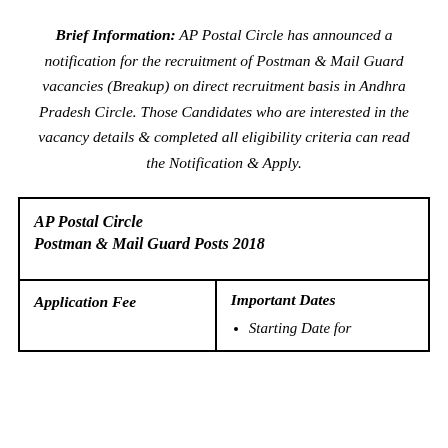Brief Information: AP Postal Circle has announced a notification for the recruitment of Postman & Mail Guard vacancies (Breakup) on direct recruitment basis in Andhra Pradesh Circle. Those Candidates who are interested in the vacancy details & completed all eligibility criteria can read the Notification & Apply.
| AP Postal Circle
Postman & Mail Guard Posts 2018 |
| Application Fee | Important Dates
• Starting Date for |